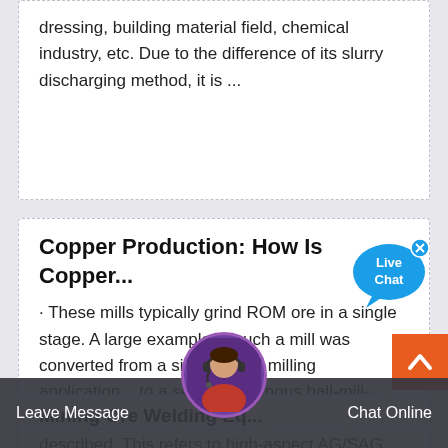dressing, building material field, chemical industry, etc. Due to the difference of its slurry discharging method, it is ...
Copper Production: How Is Copper...
· These mills typically grind ROM ore in a single stage. A large example of such a mill was converted from a single-stage milling application... to a semi autogenous ball-mill-crushing circuit, and the application is well described. This refers to high-aspect AG/SAG
[Figure (screenshot): Live Chat button overlay with blue speech bubble icon and 'Live Chat' text]
[Figure (screenshot): Orange scroll-to-top button with white chevron/caret icon in bottom right]
Mining Ore Welding Eq...
[Figure (photo): Customer support avatar - woman with headset in circular frame]
Leave Message    Chat Online